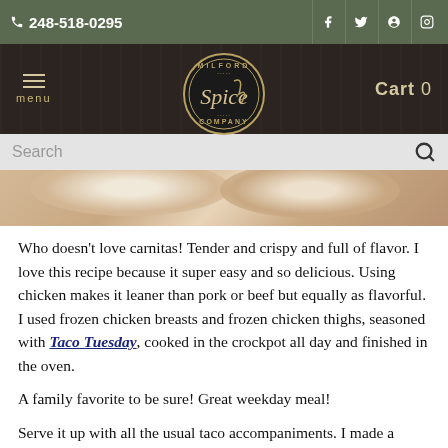📞 248-518-0295 | Milford Spice Company | Cart 0 | Social icons: Facebook, Twitter, Pinterest, Instagram
[Figure (logo): Milford Spice Company circular logo with script text in center, dark background with tan/gold lettering]
[Figure (photo): Partial photo of food - appears to be carnitas/tacos, warm tones, visible tortillas]
Who doesn't love carnitas!  Tender and crispy and full of flavor.  I love this recipe because it super easy and so delicious.  Using chicken makes it leaner than pork or beef but equally as flavorful.  I used frozen chicken breasts and frozen chicken thighs, seasoned with Taco Tuesday, cooked in the crockpot all day and finished in the oven.
A family favorite to be sure!  Great weekday meal!
Serve it up with all the usual taco accompaniments.  I made a quick blender salsa using a can of chopped tomatoes, 1 bunch cilantro, 3 jalepenos and 1/2 onion.  Blend well.  I used a big pinch of Lemon